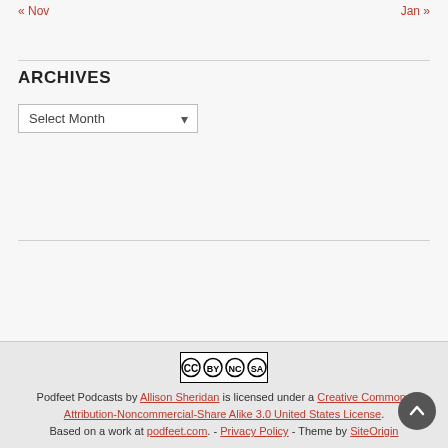« Nov    Jan »
ARCHIVES
Select Month (dropdown)
[Figure (logo): Creative Commons BY-NC-SA license badge showing CC, BY, NC, SA icons in black and white]
Podfeet Podcasts by Allison Sheridan is licensed under a Creative Commons Attribution-Noncommercial-Share Alike 3.0 United States License. Based on a work at podfeet.com. - Privacy Policy - Theme by SiteOrigin
Podfeet Podcasts by Allison Sheridan is licensed under a Creative Commons Attribution-Noncommercial-Share Alike 3.0 United States License. Based on a work at podfeet.com. - Privacy Policy - Theme by SiteOrigin